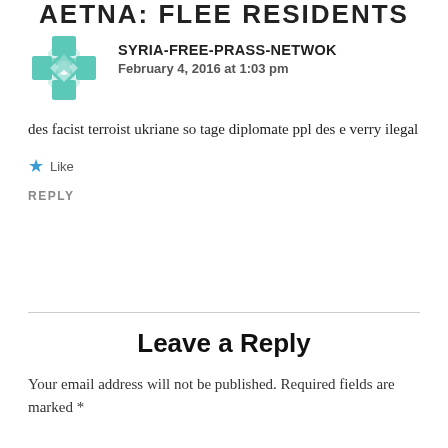AETNA: FLEE RESIDENTS
SYRIA-FREE-PRASS-NETWOK
February 4, 2016 at 1:03 pm
des facist terroist ukriane so tage diplomate ppl des e verry ilegal
Like
REPLY
Leave a Reply
Your email address will not be published. Required fields are marked *